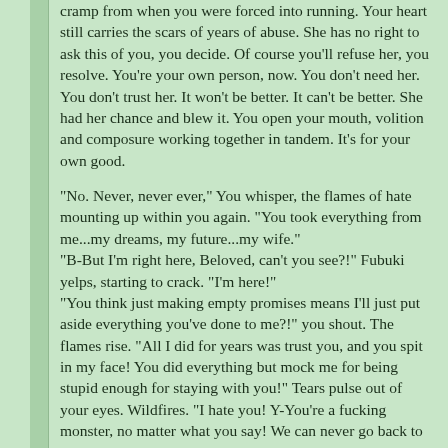cramp from when you were forced into running. Your heart still carries the scars of years of abuse. She has no right to ask this of you, you decide. Of course you'll refuse her, you resolve. You're your own person, now. You don't need her. You don't trust her. It won't be better. It can't be better. She had her chance and blew it. You open your mouth, volition and composure working together in tandem. It's for your own good.

"No. Never, never ever," You whisper, the flames of hate mounting up within you again. "You took everything from me...my dreams, my future...my wife."
"B-But I'm right here, Beloved, can't you see?!" Fubuki yelps, starting to crack. "I'm here!"
"You think just making empty promises means I'll just put aside everything you've done to me?!" you shout. The flames rise. "All I did for years was trust you, and you spit in my face! You did everything but mock me for being stupid enough for staying with you!" Tears pulse out of your eyes. Wildfires. "I hate you! Y-You're a fucking monster, no matter what you say! We can never go back to how we were *AND IT'S ALL YOUR